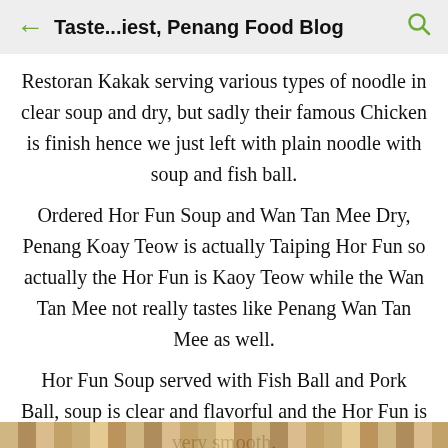← Taste...iest, Penang Food Blog 🔍
Restoran Kakak serving various types of noodle in clear soup and dry, but sadly their famous Chicken is finish hence we just left with plain noodle with soup and fish ball.
Ordered Hor Fun Soup and Wan Tan Mee Dry, Penang Koay Teow is actually Taiping Hor Fun so actually the Hor Fun is Kaoy Teow while the Wan Tan Mee not really tastes like Penang Wan Tan Mee as well.
Hor Fun Soup served with Fish Ball and Pork Ball, soup is clear and flavorful and the Hor Fun is very smooth.
[Figure (photo): Bottom strip showing a partial photo of food]